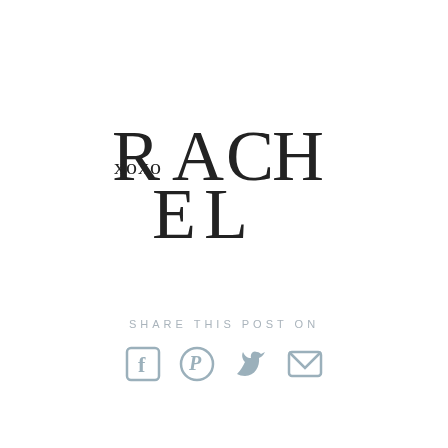[Figure (logo): RACHEL logo with XOXO overlaid on the R and A letters, stylized serif font]
SHARE THIS POST ON
[Figure (infographic): Social media share icons: Facebook, Pinterest, Twitter, Email — in muted steel blue color]